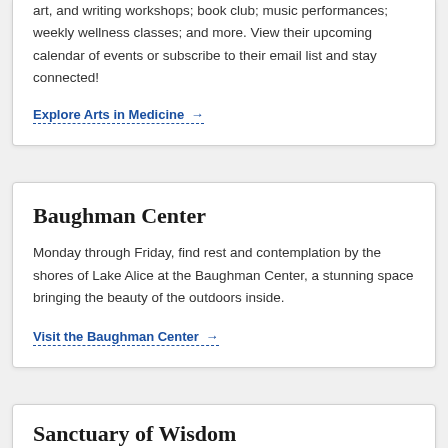art, and writing workshops; book club; music performances; weekly wellness classes; and more. View their upcoming calendar of events or subscribe to their email list and stay connected!
Explore Arts in Medicine →
Baughman Center
Monday through Friday, find rest and contemplation by the shores of Lake Alice at the Baughman Center, a stunning space bringing the beauty of the outdoors inside.
Visit the Baughman Center →
Sanctuary of Wisdom